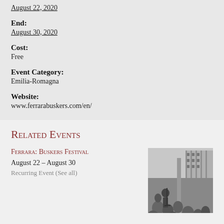August 22, 2020
End:
August 30, 2020
Cost:
Free
Event Category:
Emilia-Romagna
Website:
www.ferrarabuskers.com/en/
Related Events
Ferrara: Buskers Festival
August 22 – August 30
Recurring Event (See all)
[Figure (photo): Black and white photo of a crowd watching a street performance at the Ferrara Buskers Festival, with a performer and instruments visible in an outdoor square.]